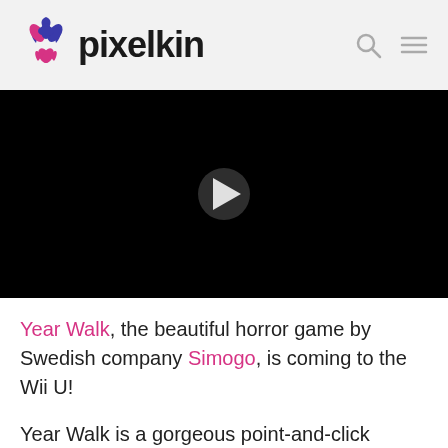pixelkin
[Figure (screenshot): Video player with dark/black background and a play button triangle in the center]
Year Walk, the beautiful horror game by Swedish company Simogo, is coming to the Wii U!
Year Walk is a gorgeous point-and-click puzzle game about going on a traditional Scandinavian vision quest. The main